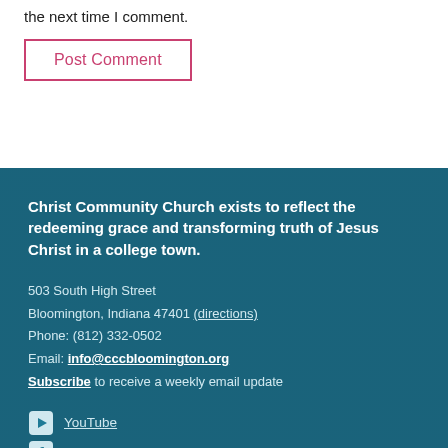the next time I comment.
Post Comment
Christ Community Church exists to reflect the redeeming grace and transforming truth of Jesus Christ in a college town.
503 South High Street
Bloomington, Indiana 47401 (directions)
Phone: (812) 332-0502
Email: info@cccbloomington.org
Subscribe to receive a weekly email update
YouTube
Facebook
Instagram